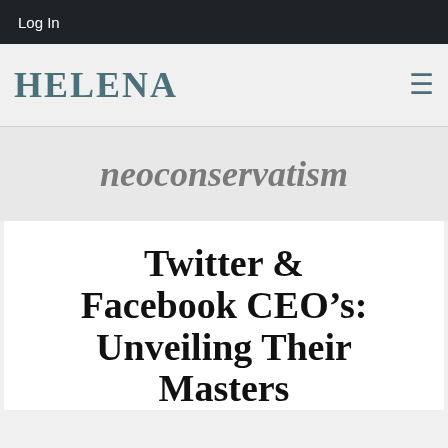Log In
HELENA
neoconservatism
Twitter & Facebook CEO’s: Unveiling Their Masters